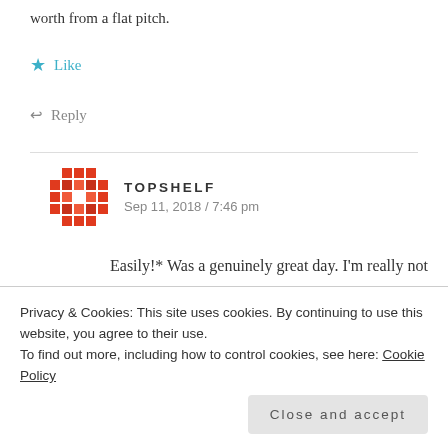worth from a flat pitch.
★ Like
↩ Reply
TOPSHELF
Sep 11, 2018 / 7:46 pm
Easily!* Was a genuinely great day. I'm really not given to gushing, but this was a proper day's cricket. Loved it. I've seen plenty of
Privacy & Cookies: This site uses cookies. By continuing to use this website, you agree to their use.
To find out more, including how to control cookies, see here: Cookie Policy
Close and accept
there. I was at Lord's for his first wicket